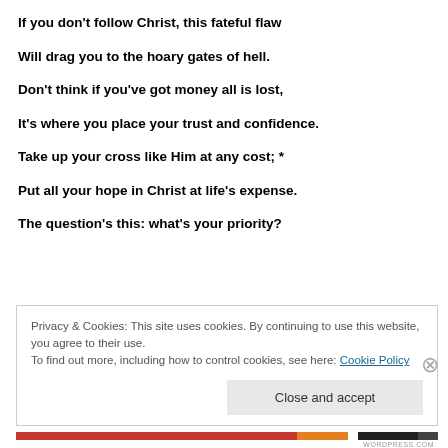If you don't follow Christ, this fateful flaw
Will drag you to the hoary gates of hell.
Don't think if you've got money all is lost,
It's where you place your trust and confidence.
Take up your cross like Him at any cost; *
Put all your hope in Christ at life's expense.
The question's this: what's your priority?
Privacy & Cookies: This site uses cookies. By continuing to use this website, you agree to their use. To find out more, including how to control cookies, see here: Cookie Policy
Close and accept